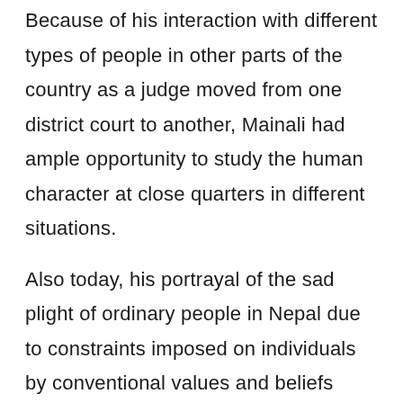Because of his interaction with different types of people in other parts of the country as a judge moved from one district court to another, Mainali had ample opportunity to study the human character at close quarters in different situations.

Also today, his portrayal of the sad plight of ordinary people in Nepal due to constraints imposed on individuals by conventional values and beliefs made in his stories remains unbeatable.